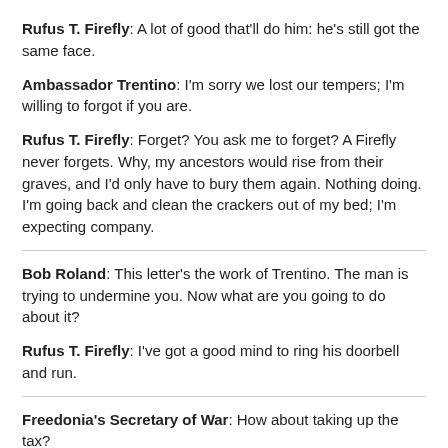Rufus T. Firefly: A lot of good that'll do him: he's still got the same face.
Ambassador Trentino: I'm sorry we lost our tempers; I'm willing to forgot if you are.
Rufus T. Firefly: Forget? You ask me to forget? A Firefly never forgets. Why, my ancestors would rise from their graves, and I'd only have to bury them again. Nothing doing. I'm going back and clean the crackers out of my bed; I'm expecting company.
Bob Roland: This letter's the work of Trentino. The man is trying to undermine you. Now what are you going to do about it?
Rufus T. Firefly: I've got a good mind to ring his doorbell and run.
Freedonia's Secretary of War: How about taking up the tax?
Rufus T. Firefly: How 'bout taking up the carpet?
Freedonia's Secretary of War: I still insist we must take up the tax.
Rufus T. Firefly: He's right, you've gotta take up the tacks before you can take up the carpet.